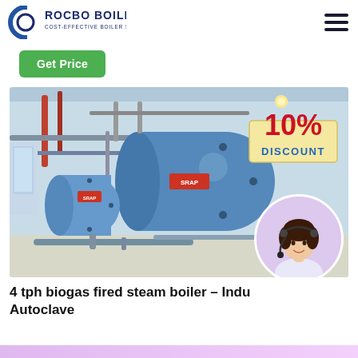[Figure (logo): Rocbo Boiler logo — blue crescent/C shape with text 'ROCBO BOILER' in navy bold and 'COST-EFFECTIVE BOILER SUPPLIER' subtitle]
[Figure (other): Hamburger menu icon — three horizontal lines]
Get Price
[Figure (photo): Industrial boiler room photo showing two large blue horizontal steam boilers inside a factory building with pipes and steel framework, overlaid with a '10% DISCOUNT' badge and a circular customer service representative photo in the lower right corner.]
4 tph biogas fired steam boiler – Indu Autoclave